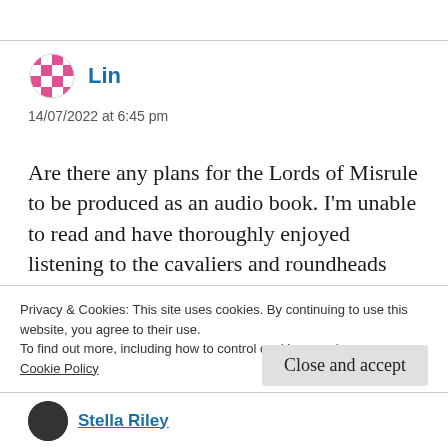[Figure (illustration): Pink and white checkered circular avatar icon for user Lin]
Lin
14/07/2022 at 6:45 pm
Are there any plans for the Lords of Misrule to be produced as an audio book. I'm unable to read and have thoroughly enjoyed listening to the cavaliers and roundheads tales. I really want to hear what becomes of Eden and the family.
Privacy & Cookies: This site uses cookies. By continuing to use this website, you agree to their use.
To find out more, including how to control cookies, see here:
Cookie Policy
Close and accept
[Figure (illustration): Dark circular avatar icon at bottom, partially visible]
Stella Riley